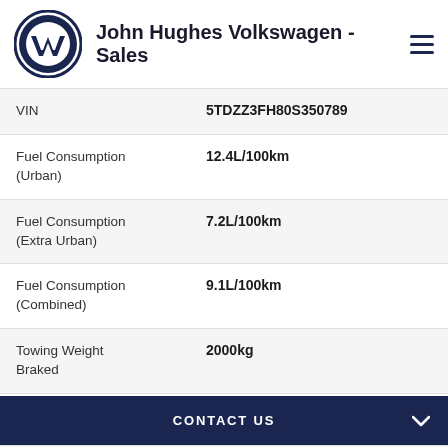John Hughes Volkswagen - Sales
| Field | Value |
| --- | --- |
| VIN | 5TDZZ3FH80S350789 |
| Fuel Consumption (Urban) | 12.4L/100km |
| Fuel Consumption (Extra Urban) | 7.2L/100km |
| Fuel Consumption (Combined) | 9.1L/100km |
| Towing Weight Braked | 2000kg |
CONTACT US
DEALER SUMMARY
FINANCE THIS VEHICLE